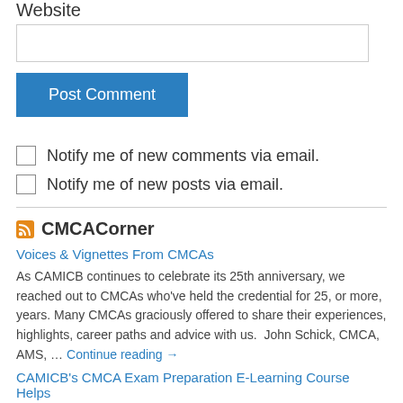Website
[Website input field]
Post Comment
Notify me of new comments via email.
Notify me of new posts via email.
CMCACorner
Voices & Vignettes From CMCAs
As CAMICB continues to celebrate its 25th anniversary, we reached out to CMCAs who've held the credential for 25, or more, years. Many CMCAs graciously offered to share their experiences, highlights, career paths and advice with us.  John Schick, CMCA, AMS, … Continue reading →
CAMICB's CMCA Exam Preparation E-Learning Course Helps